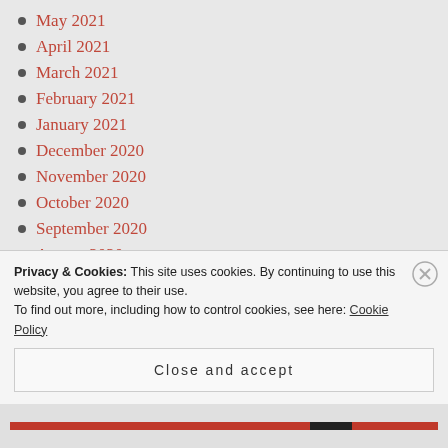May 2021
April 2021
March 2021
February 2021
January 2021
December 2020
November 2020
October 2020
September 2020
August 2020
July 2020
June 2020
Privacy & Cookies: This site uses cookies. By continuing to use this website, you agree to their use. To find out more, including how to control cookies, see here: Cookie Policy
Close and accept